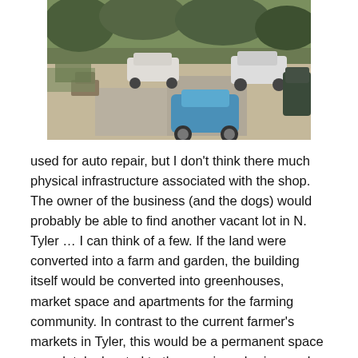[Figure (photo): Aerial or elevated view of a vacant lot used for auto repair, showing several cars parked on a dirt/concrete surface with overgrown vegetation and trees in the background.]
used for auto repair, but I don't think there much physical infrastructure associated with the shop. The owner of the business (and the dogs) would probably be able to find another vacant lot in N. Tyler … I can think of a few. If the land were converted into a farm and garden, the building itself would be converted into greenhouses, market space and apartments for the farming community. In contrast to the current farmer's markets in Tyler, this would be a permanent space completely devoted to the growing, sharing, and selling of good food. In addition, the location of this farm would be strategic in connecting the surrounding neighborhoods with fresh vegetables and